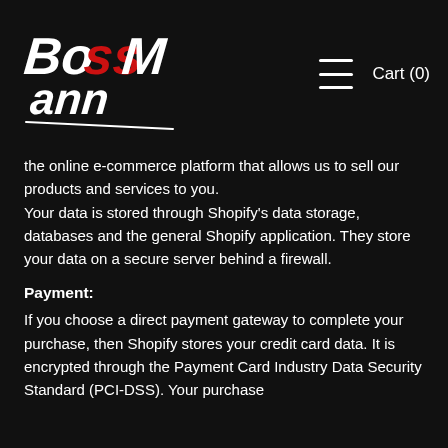[Figure (logo): BOSSMANN logo in stylized white and red script handwriting on black background]
Cart (0)
the online e-commerce platform that allows us to sell our products and services to you. Your data is stored through Shopify's data storage, databases and the general Shopify application. They store your data on a secure server behind a firewall.
Payment:
If you choose a direct payment gateway to complete your purchase, then Shopify stores your credit card data. It is encrypted through the Payment Card Industry Data Security Standard (PCI-DSS). Your purchase